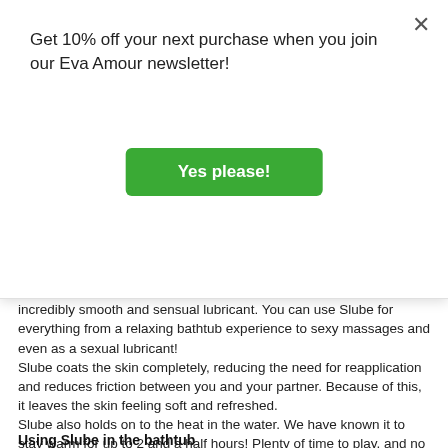Get 10% off your next purchase when you join our Eva Amour newsletter!
Yes please!
Slube is a lubricant which comes in the form of crystals. When added to warm water, the crystals break down, forming an incredibly smooth and sensual lubricant. You can use Slube for everything from a relaxing bathtub experience to sexy massages and even as a sexual lubricant!
Slube coats the skin completely, reducing the need for reapplication and reduces friction between you and your partner. Because of this, it leaves the skin feeling soft and refreshed.
Slube also holds on to the heat in the water. We have known it to stay warm for up to 2 and a half hours! Plenty of time to play, and no need to keep topping up with warm water.
Using Slube in the bathtub